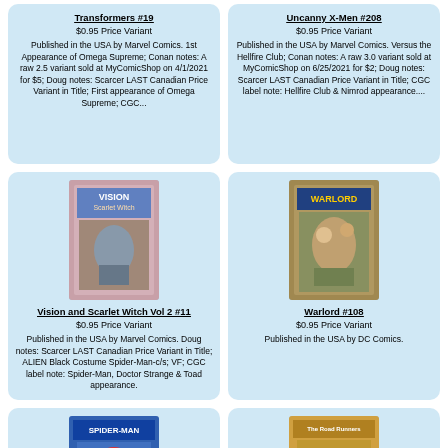Transformers #19
$0.95 Price Variant
Published in the USA by Marvel Comics. 1st Appearance of Omega Supreme; Conan notes: A raw 2.5 variant sold at MyComicShop on 4/1/2021 for $5; Doug notes: Scarcer LAST Canadian Price Variant in Title; First appearance of Omega Supreme; CGC...
Uncanny X-Men #208
$0.95 Price Variant
Published in the USA by Marvel Comics. Versus the Hellfire Club; Conan notes: A raw 3.0 variant sold at MyComicShop on 6/25/2021 for $2; Doug notes: Scarcer LAST Canadian Price Variant in Title; CGC label note: Hellfire Club & Nimrod appearance....
[Figure (illustration): Comic book cover: Vision and Scarlet Witch Vol 2]
Vision and Scarlet Witch Vol 2 #11
$0.95 Price Variant
Published in the USA by Marvel Comics. Doug notes: Scarcer LAST Canadian Price Variant in Title; ALIEN Black Costume Spider-Man-c/s; VF; CGC label note: Spider-Man, Doctor Strange & Toad appearance.
[Figure (illustration): Comic book cover: Warlord #108]
Warlord #108
$0.95 Price Variant
Published in the USA by DC Comics.
[Figure (illustration): Comic book cover: Spider-Man partial view]
[Figure (illustration): Comic book cover: The Road Runners partial view]